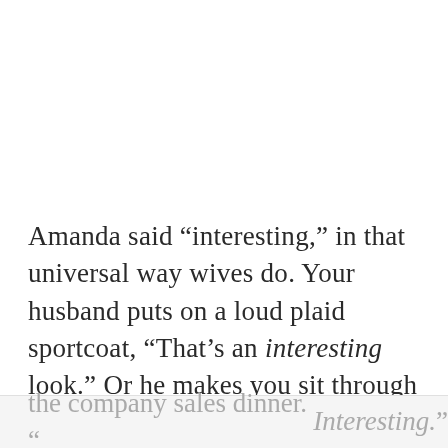Amanda said “interesting,” in that universal way wives do. Your husband puts on a loud plaid sportcoat, “That’s an interesting look.” Or he makes you sit through four hours of Wagnerian opera and wants to know what you think. “It was interesting.” Or how did you like the company sales dinner. “Interesting.”